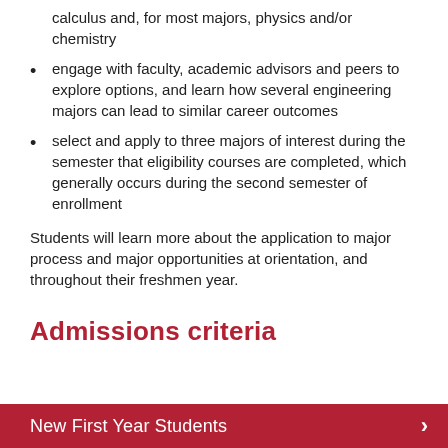calculus and, for most majors, physics and/or chemistry
engage with faculty, academic advisors and peers to explore options, and learn how several engineering majors can lead to similar career outcomes
select and apply to three majors of interest during the semester that eligibility courses are completed, which generally occurs during the second semester of enrollment
Students will learn more about the application to major process and major opportunities at orientation, and throughout their freshmen year.
Admissions criteria
New First Year Students